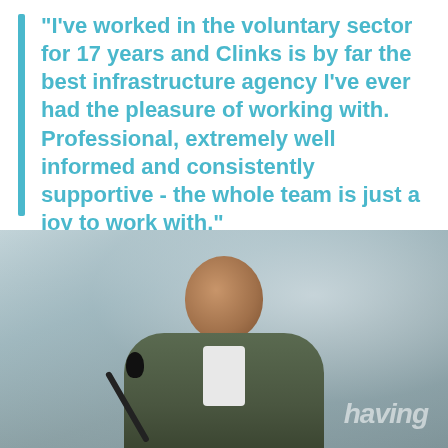“I’ve worked in the voluntary sector for 17 years and Clinks is by far the best infrastructure agency I’ve ever had the pleasure of working with. Professional, extremely well informed and consistently supportive - the whole team is just a joy to work with.”
— Kelly Prince, Keele University
[Figure (photo): A smiling man of South Asian appearance standing at a microphone, wearing a grey suit jacket, with a blurred presentation screen in the background.]